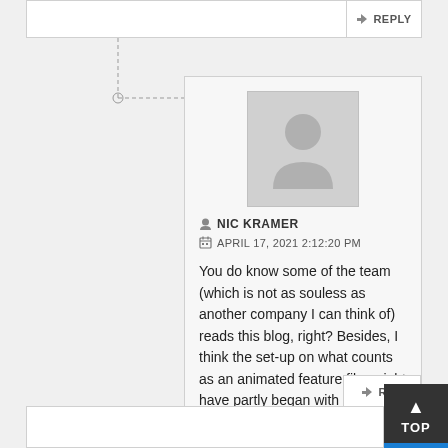[Figure (screenshot): Blog comment section showing a reply button at the top, a thread connector line, and a user comment card with avatar, username NIC KRAMER, date APRIL 17, 2021 2:12:20 PM, comment text, and a reply button at the bottom. A 'TOP' navigation button appears in the bottom-right corner.]
NIC KRAMER
APRIL 17, 2021 2:12:20 PM
You do know some of the team (which is not as souless as another company I can think of) reads this blog, right? Besides, I think the set-up on what counts as an animated feature film might have partly began with Maltin's books such as “The Disney Films” and “Of Mice and Magic”.